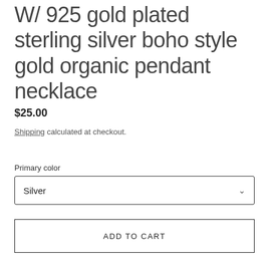W/ 925 gold plated sterling silver boho style gold organic pendant necklace
$25.00
Shipping calculated at checkout.
Primary color
Silver
ADD TO CART